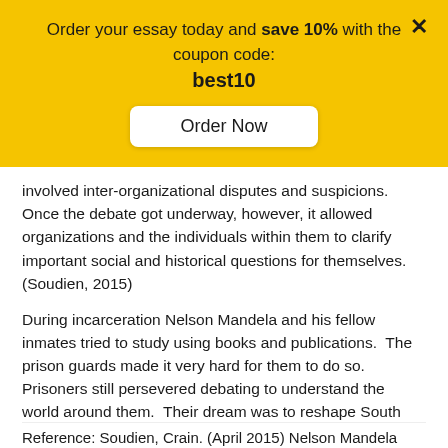[Figure (screenshot): Yellow promotional banner with text 'Order your essay today and save 10% with the coupon code: best10', an 'Order Now' button, and a close X button]
involved inter-organizational disputes and suspicions. Once the debate got underway, however, it allowed organizations and the individuals within them to clarify important social and historical questions for themselves. (Soudien, 2015)
During incarceration Nelson Mandela and his fellow inmates tried to study using books and publications.  The prison guards made it very hard for them to do so.  Prisoners still persevered debating to understand the world around them.  Their dream was to reshape South Africa to make it a place where people of color were treated as equals under the law.  Alexander a fellow prisoner explained, 'throughout this period, even when they took away our study privileges, when they really messed us around, we turned that prison into a university'. (Soudien, 2015)
Reference: Soudien, Crain. (April 2015) Nelson Mandela